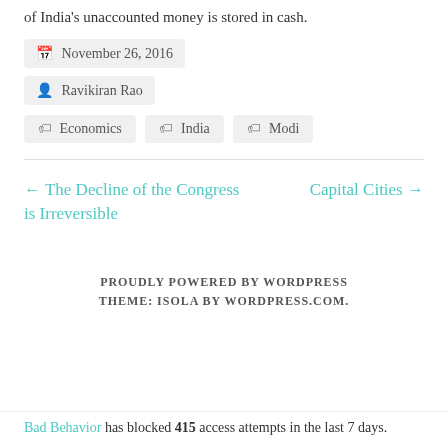of India's unaccounted money is stored in cash.
November 26, 2016
Ravikiran Rao
Economics
India
Modi
← The Decline of the Congress is Irreversible
Capital Cities →
PROUDLY POWERED BY WORDPRESS
THEME: ISOLA BY WORDPRESS.COM.
Bad Behavior has blocked 415 access attempts in the last 7 days.